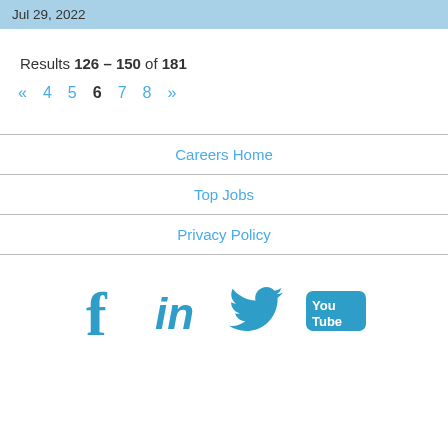Jul 29, 2022
Results 126 – 150 of 181
« 4 5 6 7 8 »
Careers Home
Top Jobs
Privacy Policy
[Figure (illustration): Social media icons: Facebook, LinkedIn, Twitter, YouTube]